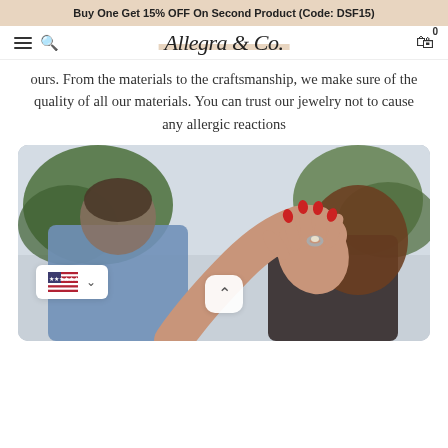Buy One Get 15% OFF On Second Product (Code: DSF15)
[Figure (logo): Allegra & Co. cursive logo with beige/tan highlight brushstroke behind text, navigation bar with hamburger menu, search icon, and shopping bag icon with 0 badge]
ours. From the materials to the craftsmanship, we make sure of the quality of all our materials. You can trust our jewelry not to cause any allergic reactions
[Figure (photo): A couple kissing with the woman showing off an engagement ring on her outstretched hand toward the camera. Her nails are painted red. Trees are visible in the blurred background.]